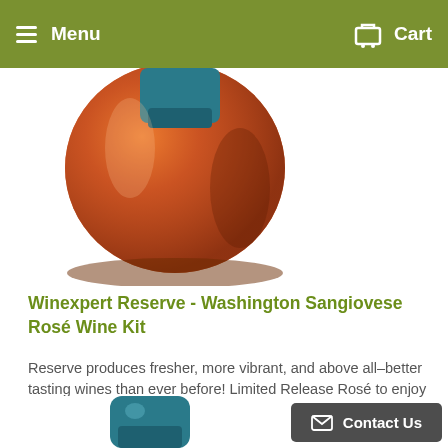Menu  Cart
[Figure (photo): Partial view of a wine bottle with orange/amber colored glass, teal cap, against white background]
Winexpert Reserve - Washington Sangiovese Rosé Wine Kit
Reserve produces fresher, more vibrant, and above all–better tasting wines than ever before! Limited Release Rosé to enjoy through the spring and summer!Pink goes with everything! Who would have guessed that the...
139⁹⁹
[Figure (photo): Partial view of another wine bottle bottom with teal cap, cropped at page bottom]
Contact Us